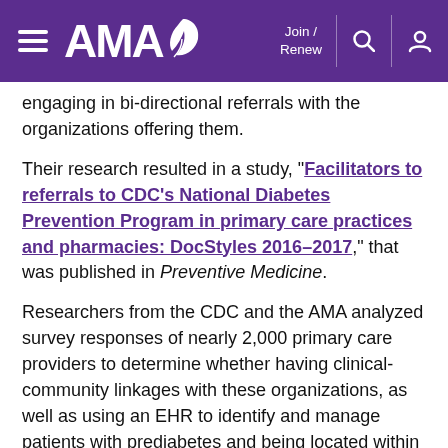AMA — Join / Renew [navigation header]
engaging in bi-directional referrals with the organizations offering them.
Their research resulted in a study, "Facilitators to referrals to CDC's National Diabetes Prevention Program in primary care practices and pharmacies: DocStyles 2016–2017," that was published in Preventive Medicine.
Researchers from the CDC and the AMA analyzed survey responses of nearly 2,000 primary care providers to determine whether having clinical-community linkages with these organizations, as well as using an EHR to identify and manage patients with prediabetes and being located within 10 miles of an in-person lifestyle-change